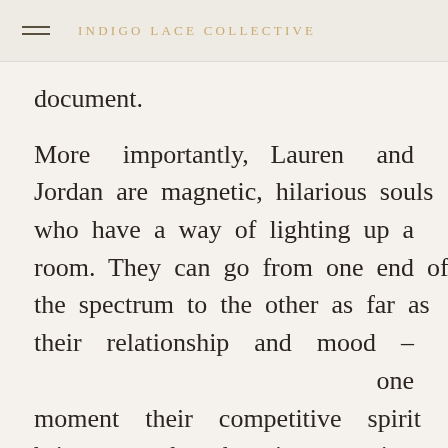INDIGO LACE COLLECTIVE
document.
More importantly, Lauren and Jordan are magnetic, hilarious souls who have a way of lighting up a room. They can go from one end of the spectrum to the other as far as their relationship and mood – one moment their competitive spirit brings out the obnoxious, teasing side of their relationship and the